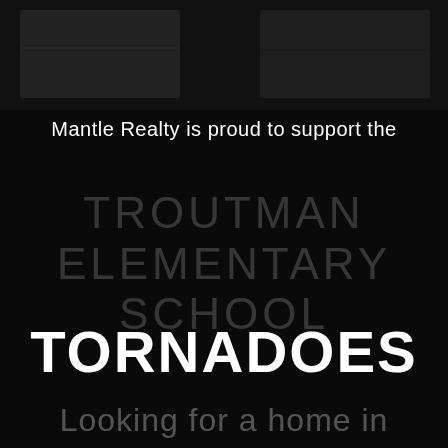[Figure (photo): Dark background image at the top of the page, appears to be a dark interior or building photo]
Mantle Realty is proud to support the
TROUTMAN ELEMENTARY SCHOOL
TORNADOES
Looking for a home in